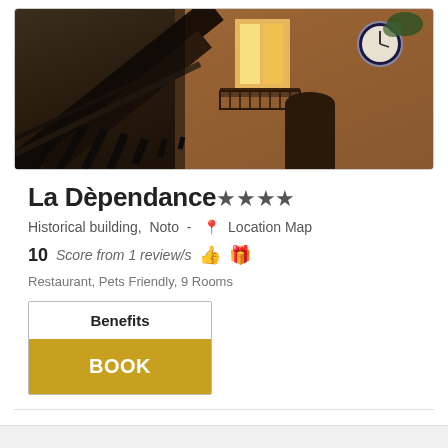[Figure (photo): Exterior photo of La Dèpendance hotel showing a darkened architectural view with iron railings/staircase on left, warm-lit building facade with balcony and clock on right, shot from below looking upward at night]
La Dèpendance****
Historical building,  Noto  -  📍 Location Map
10  Score from 1 review/s 👍 🎁
Restaurant, Pets Friendly, 9 Rooms
Benefits
BOOK